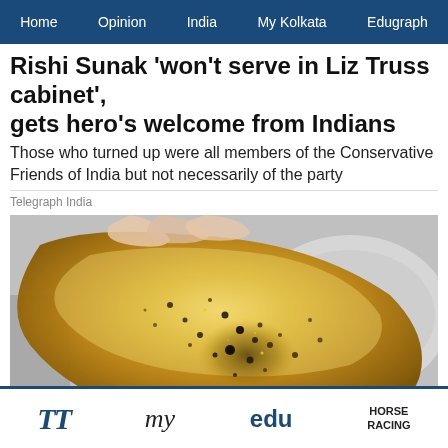Home  Opinion  India  My Kolkata  Edugraph
Rishi Sunak 'won't serve in Liz Truss cabinet', gets hero's welcome from Indians
Those who turned up were all members of the Conservative Friends of India but not necessarily of the party
Telegraph India
[Figure (photo): Close-up photo of a hand holding a translucent golden papad or crispy flatbread with dark speckles, with more piled in the background]
TT  my  edu  HORSE RACING